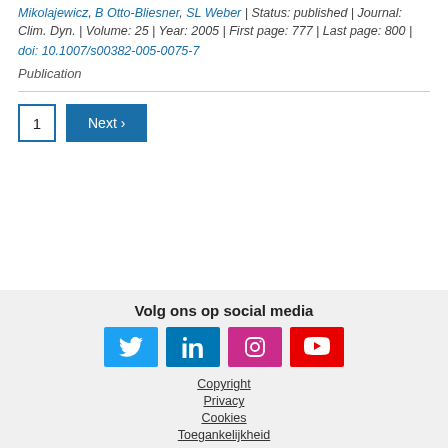Mikolajewicz, B Otto-Bliesner, SL Weber | Status: published | Journal: Clim. Dyn. | Volume: 25 | Year: 2005 | First page: 777 | Last page: 800 | doi: 10.1007/s00382-005-0075-7
Publication
1   Next ›
Volg ons op social media  Copyright  Privacy  Cookies  Toegankelijkheid